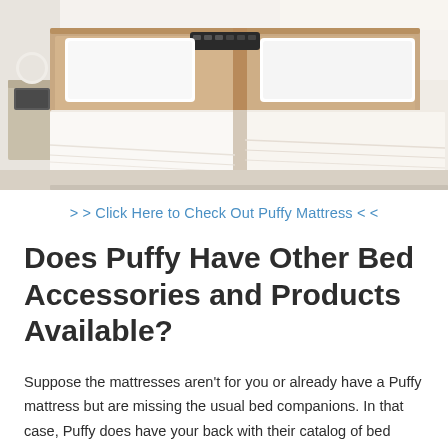[Figure (photo): Hotel-style bedroom with two single beds side by side, white bedding, wooden headboard with built-in panel, white pillows, nightstand with lamp on the left, minimalist room interior.]
> > Click Here to Check Out Puffy Mattress < <
Does Puffy Have Other Bed Accessories and Products Available?
Suppose the mattresses aren't for you or already have a Puffy mattress but are missing the usual bed companions. In that case, Puffy does have your back with their catalog of bed accessories,